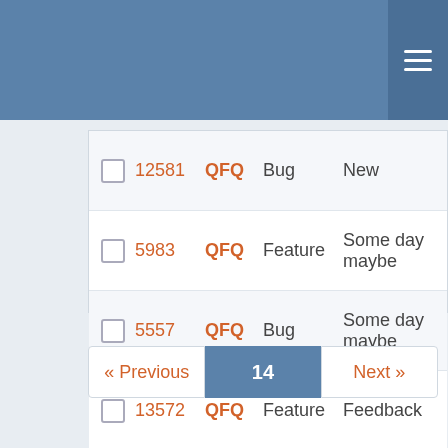|  | # | Project | Type | Status | Priority | Title |
| --- | --- | --- | --- | --- | --- | --- |
|  | 12581 | QFQ | Bug | New | Normal |  |
|  | 5983 | QFQ | Feature | Some day maybe | Normal |  |
|  | 5557 | QFQ | Bug | Some day maybe | Normal |  |
|  | 13572 | QFQ | Feature | Feedback | Normal |  |
|  | 14322 | QFQ | Bug | New | Normal |  |
|  | 12315 | QFQ | Feature | New | Normal |  |
|  | 11322 | QFQ | Feature | Some day maybe | Normal |  |
|  | 4756 | QFQ | Bug | New | Normal |  |
« Previous | 14 | Next »